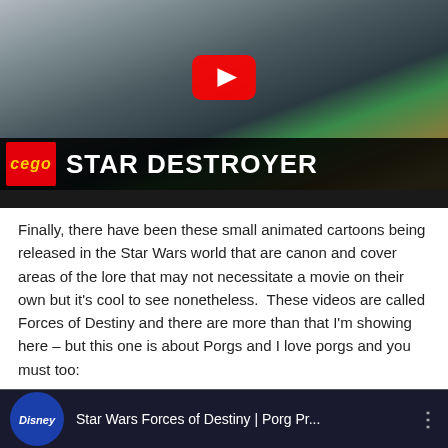[Figure (screenshot): YouTube video thumbnail showing a large LEGO Star Destroyer model being assembled on a table, with a YouTube play button overlay. Bottom bar shows LEGO logo and text 'STAR DESTROYER' in white on black background.]
Finally, there have been these small animated cartoons being released in the Star Wars world that are canon and cover areas of the lore that may not necessitate a movie on their own but it's cool to see nonetheless.  These videos are called Forces of Destiny and there are more than that I'm showing here – but this one is about Porgs and I love porgs and you must too:
[Figure (screenshot): YouTube video thumbnail for 'Star Wars Forces of Destiny | Porg Pr...' with Disney logo on dark blue background.]